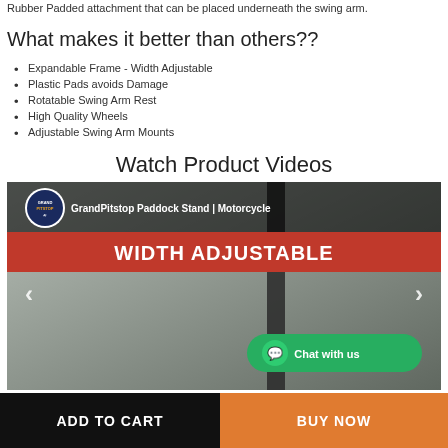Rubber Padded attachment that can be placed underneath the swing arm.
What makes it better than others??
Expandable Frame - Width Adjustable
Plastic Pads avoids Damage
Rotatable Swing Arm Rest
High Quality Wheels
Adjustable Swing Arm Mounts
Watch Product Videos
[Figure (screenshot): Video thumbnail showing GrandPitstop Paddock Stand | Motorcycle with WIDTH ADJUSTABLE red banner and Chat with us button]
ADD TO CART
BUY NOW